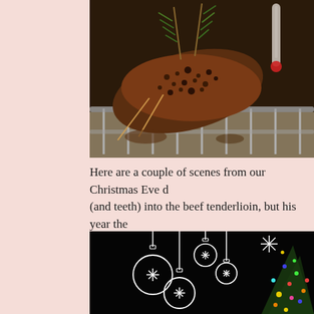[Figure (photo): Close-up photo of a crusted beef tenderloin on a roasting rack with rosemary sprigs and skewers, with a meat thermometer visible. Dark, slightly blurred background.]
Here are a couple of scenes from our Christmas Eve d (and teeth) into the beef tenderlioin, but his year the
[Figure (photo): Dark black background with illustrated white Christmas ornament outlines hanging from strings, and a partially visible Christmas tree with colorful lights on the right side.]